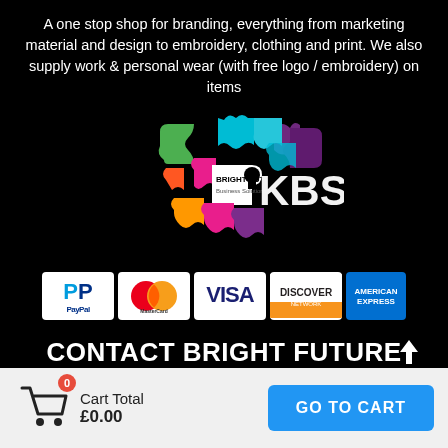A one stop shop for branding, everything from marketing material and design to embroidery, clothing and print. We also supply work & personal wear (with free logo / embroidery) on items
[Figure (logo): Bright Future Business Solutions / KBS logo with colourful puzzle pieces on black background]
[Figure (infographic): Payment method icons: PayPal, MasterCard, VISA, Discover Network, American Express]
CONTACT BRIGHT FUTURE BUSINESS SOLUTIONS
Cart Total £0.00
GO TO CART